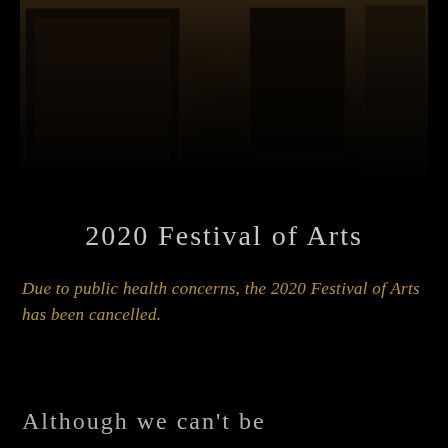[Figure (photo): Dark indoor scene, likely a stage or auditorium interior with wooden panels and dim lighting]
2020 Festival of Arts
Due to public health concerns, the 2020 Festival of Arts has been cancelled.
Although we can't be